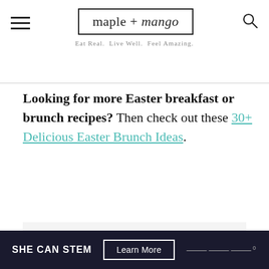maple + mango — Eat Real. Live Well. Feel Amazing.
Looking for more Easter breakfast or brunch recipes? Then check out these 30+ Delicious Easter Brunch Ideas.
[Figure (other): Advertisement placeholder with three grey dots]
SHE CAN STEM  Learn More